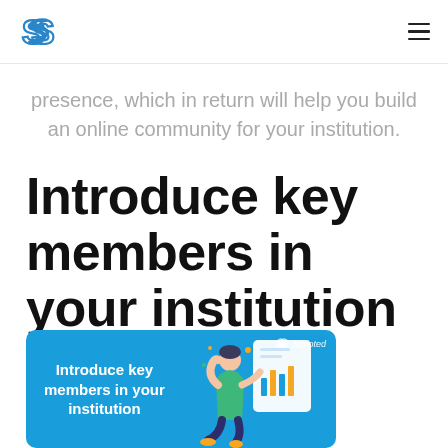Scripted logo and hamburger menu
presence, which in return will help you build an online community for your institution.
Introduce key members in your institution
[Figure (illustration): Blue promotional card with white text reading 'Introduce key members in your institution', Scripted logo badge top right, and an illustration of a person sitting with charts/documents on the right side.]